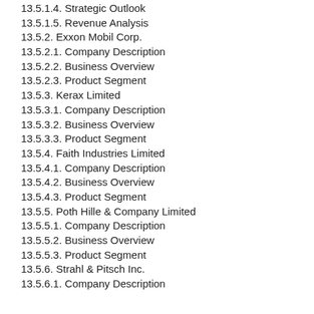13.5.1.4. Strategic Outlook
13.5.1.5. Revenue Analysis
13.5.2. Exxon Mobil Corp.
13.5.2.1. Company Description
13.5.2.2. Business Overview
13.5.2.3. Product Segment
13.5.3. Kerax Limited
13.5.3.1. Company Description
13.5.3.2. Business Overview
13.5.3.3. Product Segment
13.5.4. Faith Industries Limited
13.5.4.1. Company Description
13.5.4.2. Business Overview
13.5.4.3. Product Segment
13.5.5. Poth Hille & Company Limited
13.5.5.1. Company Description
13.5.5.2. Business Overview
13.5.5.3. Product Segment
13.5.6. Strahl & Pitsch Inc.
13.5.6.1. Company Description